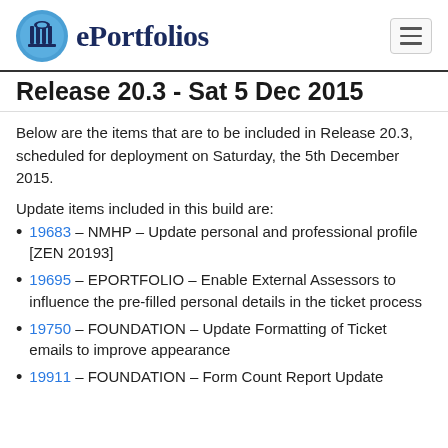ePortfolios
Release 20.3 - Sat 5 Dec 2015
Below are the items that are to be included in Release 20.3, scheduled for deployment on Saturday, the 5th December 2015.
Update items included in this build are:
19683 – NMHP – Update personal and professional profile [ZEN 20193]
19695 – EPORTFOLIO – Enable External Assessors to influence the pre-filled personal details in the ticket process
19750 – FOUNDATION – Update Formatting of Ticket emails to improve appearance
19911 – FOUNDATION – Form Count Report Update